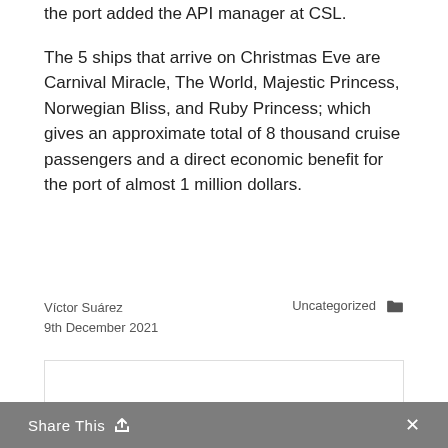the port added the API manager at CSL.
The 5 ships that arrive on Christmas Eve are Carnival Miracle, The World, Majestic Princess, Norwegian Bliss, and Ruby Princess; which gives an approximate total of 8 thousand cruise passengers and a direct economic benefit for the port of almost 1 million dollars.
Víctor Suárez
9th December 2021
Uncategorized
About Víctor Suárez
View all posts by Víctor Suárez →
Share This  ×